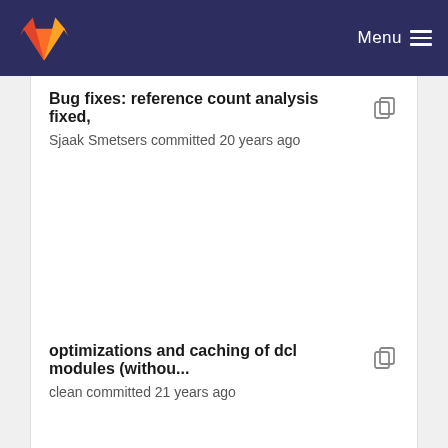Menu
Bug fixes: reference count analysis fixed,
Sjaak Smetsers committed 20 years ago
optimizations and caching of dcl modules (withou...
clean committed 21 years ago